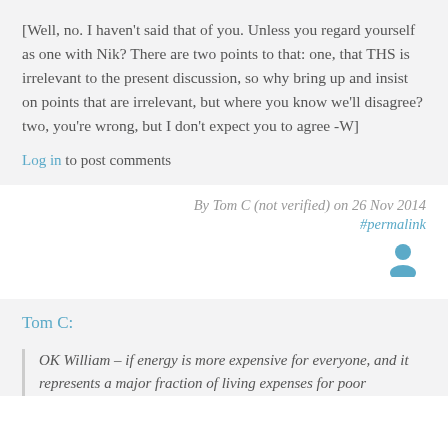[Well, no. I haven't said that of you. Unless you regard yourself as one with Nik? There are two points to that: one, that THS is irrelevant to the present discussion, so why bring up and insist on points that are irrelevant, but where you know we'll disagree? two, you're wrong, but I don't expect you to agree -W]
Log in to post comments
By Tom C (not verified) on 26 Nov 2014
#permalink
[Figure (illustration): User avatar icon in blue/teal color]
Tom C:
OK William – if energy is more expensive for everyone, and it represents a major fraction of living expenses for poor